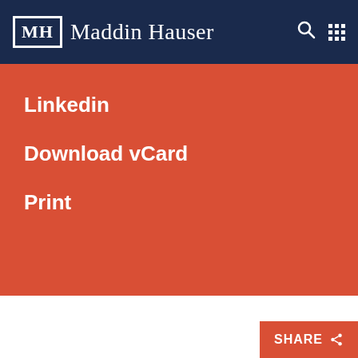[Figure (logo): Maddin Hauser law firm logo with MH monogram in a box, white text on dark navy background, with search and grid menu icons]
Linkedin
Download vCard
Print
Overview   Expertise & Credentials   More
SHARE